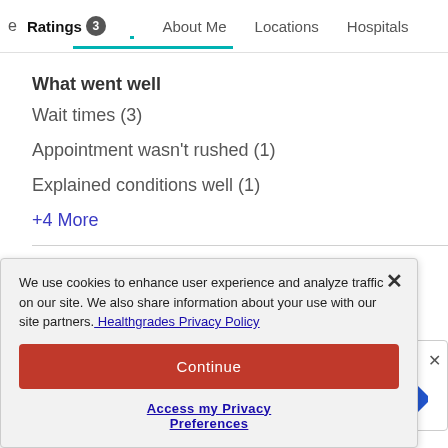Ratings 3  About Me  Locations  Hospitals
What went well
Wait times (3)
Appointment wasn't rushed (1)
Explained conditions well (1)
+4 More
What could be improved
We use cookies to enhance user experience and analyze traffic on our site. We also share information about your use with our site partners. Healthgrades Privacy Policy
Continue
Access my Privacy Preferences